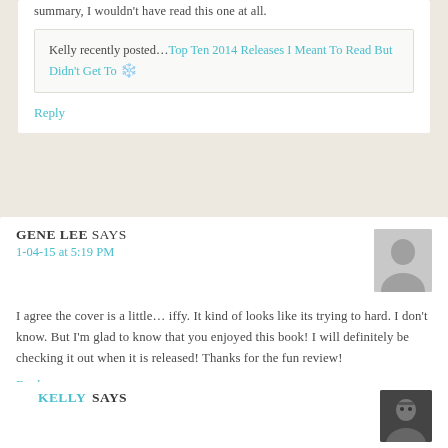summary, I wouldn't have read this one at all.
Kelly recently posted...Top Ten 2014 Releases I Meant To Read But Didn't Get To
Reply
GENE LEE SAYS
1-04-15 at 5:19 PM
I agree the cover is a little... iffy. It kind of looks like its trying to hard. I don't know. But I'm glad to know that you enjoyed this book! I will definitely be checking it out when it is released! Thanks for the fun review!
Reply
KELLY SAYS